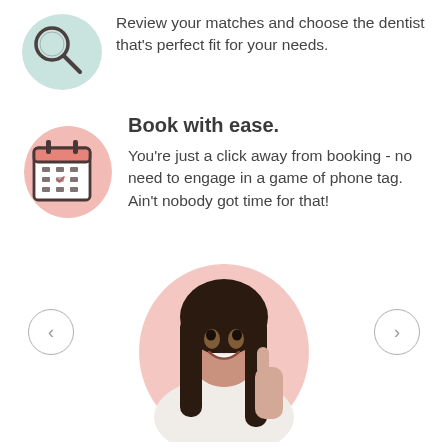[Figure (illustration): Teal/mint circular blob background with a magnifying glass icon (search icon) in dark outline style]
Review your matches and choose the dentist that's perfect fit for your needs.
[Figure (illustration): Salmon/coral circular blob background with a calendar/booking icon in dark outline style]
Book with ease.
You're just a click away from booking - no need to engage in a game of phone tag. Ain't nobody got time for that!
[Figure (photo): Smiling young woman with long dark hair giving a thumbs up, on a pink/salmon blob background, with left and right carousel navigation arrows on either side]